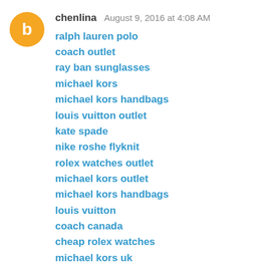chenlina  August 9, 2016 at 4:08 AM
ralph lauren polo
coach outlet
ray ban sunglasses
michael kors
michael kors handbags
louis vuitton outlet
kate spade
nike roshe flyknit
rolex watches outlet
michael kors outlet
michael kors handbags
louis vuitton
coach canada
cheap rolex watches
michael kors uk
michael kors outlet
christian louboutin pas cher
moncler uk
cheap oakley sunglasses